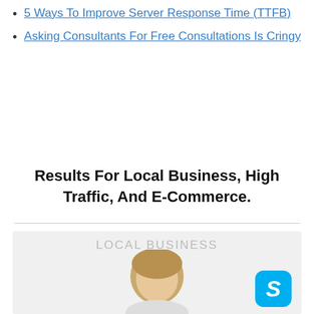5 Ways To Improve Server Response Time (TTFB)
Asking Consultants For Free Consultations Is Cringy
Results For Local Business, High Traffic, And E-Commerce.
[Figure (photo): Local Business section panel with a photo of a blonde woman and a Skype logo badge in the bottom right corner. Background is light gray with 'LOCAL BUSINESS' label at the top.]